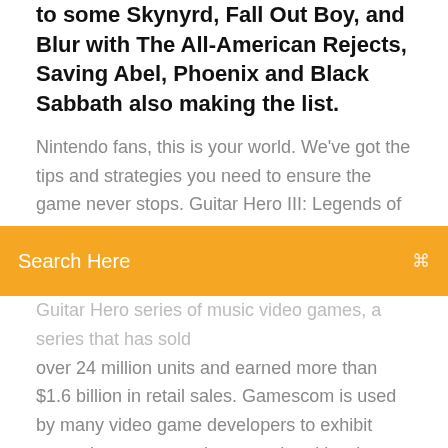to some Skynyrd, Fall Out Boy, and Blur with The All-American Rejects, Saving Abel, Phoenix and Black Sabbath also making the list.
Nintendo fans, this is your world. We've got the tips and strategies you need to ensure the game never stops. Guitar Hero III: Legends of Rock is a music rhythm game, the third
Search Here
Guitar Hero series of music video games, a series that has sold over 24 million units and earned more than $1.6 billion in retail sales. Gamescom is used by many video game developers to exhibit upcoming games and game-related hardware. It competes with the Microsoft Xbox 360 and the Nintendo Wii. The PS3 is the first console in the series to introduce the use of motion-sensing technology through its Sixaxis wireless controller. Buy Video Games and get the best deals at the lowest prices on eBay! Great Savings Free Delivery / Collection on many items Guitar Hero Live Hack is ditching the DLC model